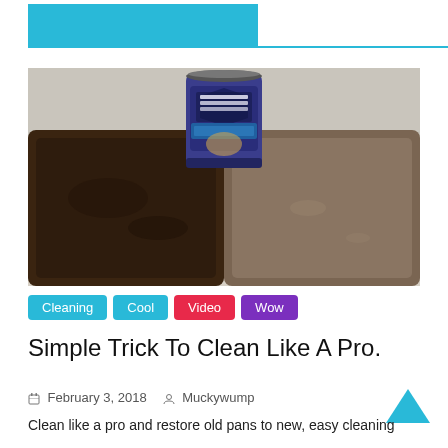[Figure (photo): A baking sheet pan shown half dirty/grimy and half cleaned, with a can of Bar Keepers Friend Cookware Cleanser & Polish product sitting on top in the center background.]
Cleaning
Cool
Video
Wow
Simple Trick To Clean Like A Pro.
February 3, 2018   Muckywump
Clean like a pro and restore old pans to new, easy cleaning